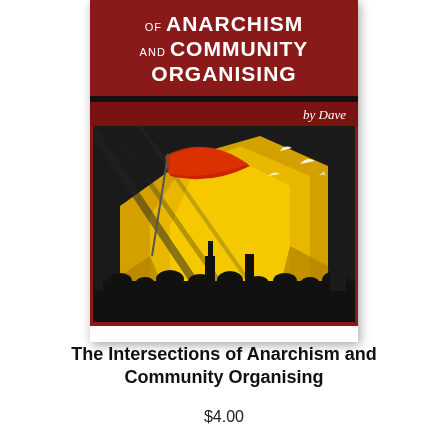[Figure (illustration): Book cover for 'The Intersections of Anarchism and Community Organising by Dave'. The cover has a dark red/crimson top section with bold white uppercase text showing 'OF ANARCHISM AND COMMUNITY ORGANISING'. A black bar separates this from a smaller dark red band reading 'by Dave' in italic white text on the right. Below is an illustrated scene with a yellow/gold background showing silhouetted figures, a red flag, flying birds, and urban structures in a revolutionary artistic style.]
The Intersections of Anarchism and Community Organising
$4.00